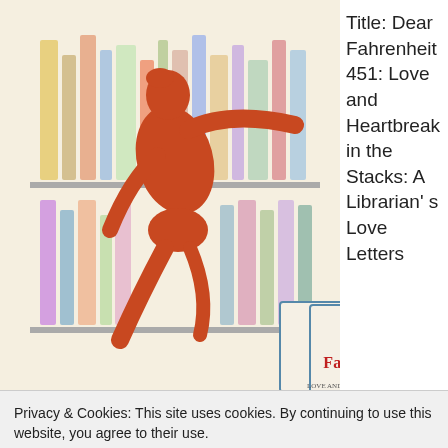[Figure (illustration): Book cover illustration of 'Dear Fahrenheit 451' showing a stylized orange/red figure of a person reaching toward colorful books on a library shelf. A box at the bottom shows the text 'Dear Fahrenheit 451' in red serif font.]
Title: Dear Fahrenheit 451: Love and Heartbreak in the Stacks: A Librarian's Love Letters
Privacy & Cookies: This site uses cookies. By continuing to use this website, you agree to their use.
To find out more, including how to control cookies, see here: Cookie Policy
Close and accept